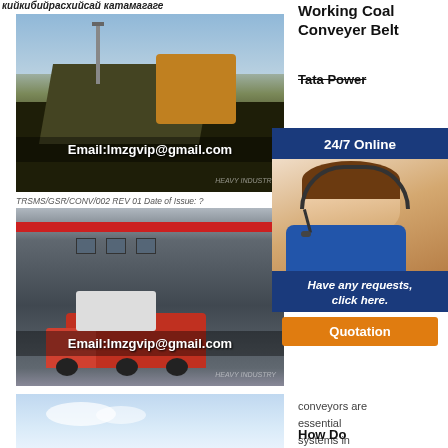кийкибийрасхийсай катамагаге
[Figure (photo): Industrial coal crushing/mining equipment with conveyor belts operating outdoors, with overlay text 'Email:lmzgvip@gmail.com']
TRSMS/GSR/CONV/002 REV 01 Date of Issue: ?
[Figure (photo): Industrial warehouse building with red and white facade, heavy machinery on a red truck in foreground, with overlay text 'Email:lmzgvip@gmail.com']
[Figure (photo): Partial view of blue sky with clouds]
Working Coal Conveyer Belt
Tata Power
[Figure (infographic): 24/7 Online chat widget with a woman wearing a headset, 'Have any requests, click here.' and a Quotation button]
conveyors are essential systems in today's industry.
How Do Conveyor Belts Work? Belt